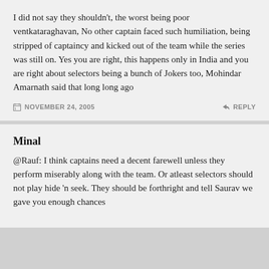I did not say they shouldn't, the worst being poor ventkataraghavan, No other captain faced such humiliation, being stripped of captaincy and kicked out of the team while the series was still on. Yes you are right, this happens only in India and you are right about selectors being a bunch of Jokers too, Mohindar Amarnath said that long long ago
NOVEMBER 24, 2005
REPLY
Minal
@Rauf: I think captains need a decent farewell unless they perform miserably along with the team. Or atleast selectors should not play hide 'n seek. They should be forthright and tell Saurav we gave you enough chances